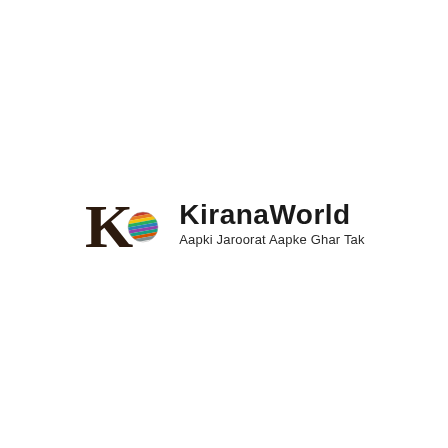[Figure (logo): KiranaWorld logo: a large serif K in dark brown with a colorful globe/sphere symbol, followed by bold text 'KiranaWorld' and tagline 'Aapki Jaroorat Aapke Ghar Tak']